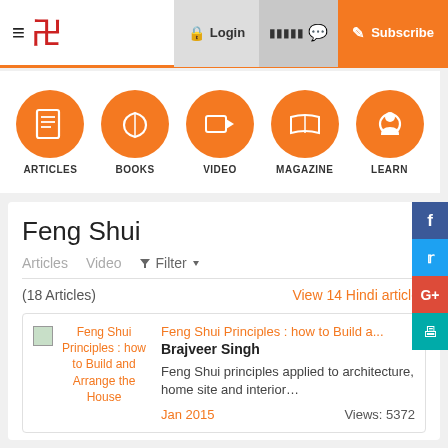≡ [Logo] Login [Hindi] Subscribe
[Figure (infographic): Navigation icons row: ARTICLES, BOOKS, VIDEO, MAGAZINE, LEARN — each with an orange circle icon]
Feng Shui
Articles  Video  ▼ Filter ▼
(18 Articles)  View 14 Hindi articles
[Figure (infographic): Thumbnail image for Feng Shui Principles article with orange text title: Feng Shui Principles : how to Build and Arrange the House]
Feng Shui Principles : how to Build a...
Brajveer Singh
Feng Shui principles applied to architecture, home site and interior…
Jan 2015  Views: 5372